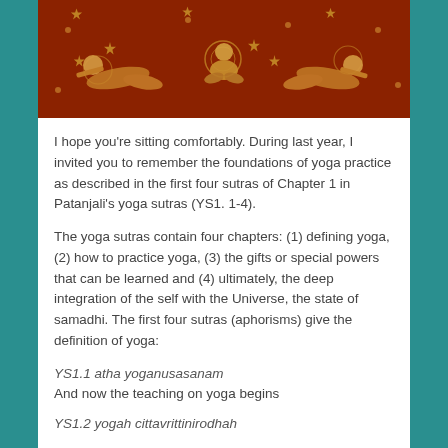[Figure (illustration): A decorative painting on a dark red background showing figures in yoga poses with floral ornamental motifs in gold and orange tones.]
I hope you're sitting comfortably. During last year, I invited you to remember the foundations of yoga practice as described in the first four sutras of Chapter 1 in Patanjali's yoga sutras (YS1. 1-4).
The yoga sutras contain four chapters: (1) defining yoga, (2) how to practice yoga, (3) the gifts or special powers that can be learned and (4) ultimately, the deep integration of the self with the Universe, the state of samadhi. The first four sutras (aphorisms) give the definition of yoga:
YS1.1 atha yoganusanam
And now the teaching on yoga begins
YS1.2 yogah cittavrittinirodhah